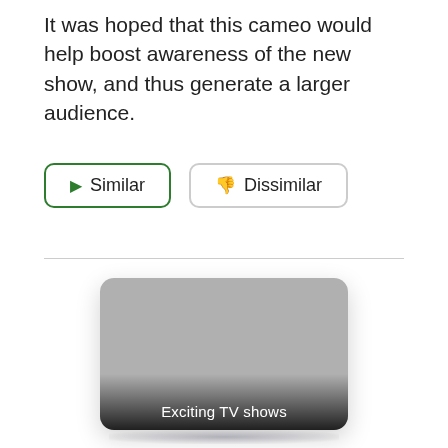It was hoped that this cameo would help boost awareness of the new show, and thus generate a larger audience.
[Figure (screenshot): Two buttons side by side: a green-outlined 'Similar' button with a play icon and a grey-outlined 'Dissimilar' button with a thumbs-down icon]
[Figure (illustration): A rounded card with grey placeholder background and a dark gradient overlay at the bottom with white text 'Exciting TV shows', with a drop shadow below and a partial second card visible at the very bottom]